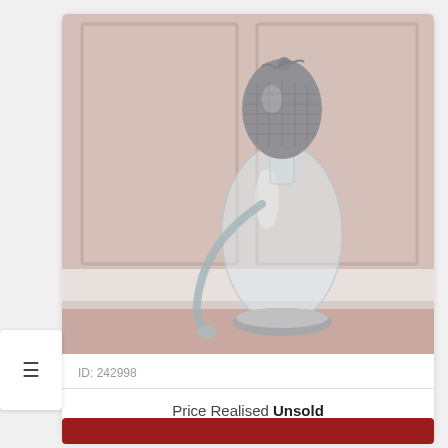[Figure (photo): A crystal and silverplate decanter with an ornate silver stopper featuring a textured/mesh pattern, photographed against a white paneled wall background. The decanter has a clear glass body with a curved spout and silver base.]
ID: 242998
Crystal/Silverplate decanter NV
Bottles: 1 | Vintage: NV | Size: 75cl | Duty Status: Duty Paid
Ends On
21-10-21 08:40pm
Price Realised Unsold